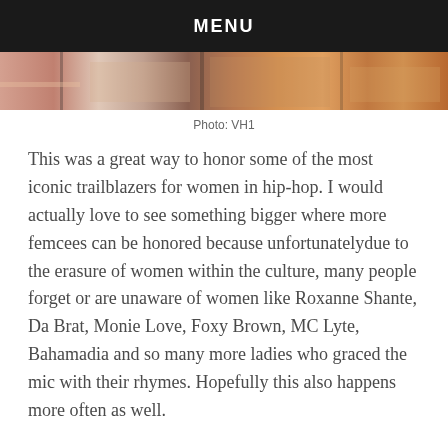MENU
[Figure (photo): Cropped photo strip showing women at an event, partial view of bodies in colorful clothing]
Photo: VH1
This was a great way to honor some of the most iconic trailblazers for women in hip-hop. I would actually love to see something bigger where more femcees can be honored because unfortunatelydue to the erasure of women within the culture, many people forget or are unaware of women like Roxanne Shante, Da Brat, Monie Love, Foxy Brown, MC Lyte, Bahamadia and so many more ladies who graced the mic with their rhymes. Hopefully this also happens more often as well.